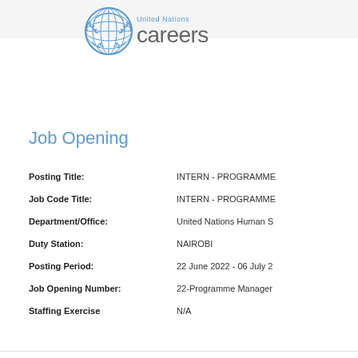[Figure (logo): United Nations Careers logo with UN emblem and text 'United Nations careers']
Job Opening
| Field | Value |
| --- | --- |
| Posting Title: | INTERN - PROGRAMME |
| Job Code Title: | INTERN - PROGRAMME |
| Department/Office: | United Nations Human S |
| Duty Station: | NAIROBI |
| Posting Period: | 22 June 2022 - 06 July 2 |
| Job Opening Number: | 22-Programme Manager |
| Staffing Exercise | N/A |